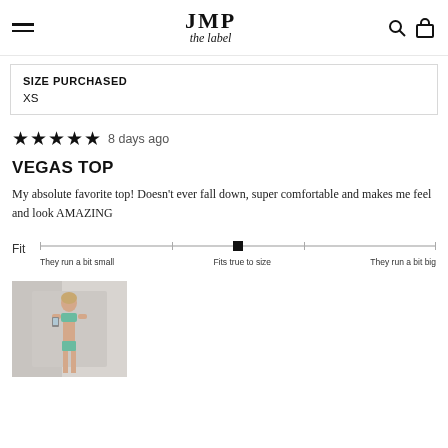JMP the label
SIZE PURCHASED
XS
★★★★★ 8 days ago
VEGAS TOP
My absolute favorite top! Doesn't ever fall down, super comfortable and makes me feel and look AMAZING
[Figure (infographic): Fit scale showing position at 'Fits true to size', with labels: They run a bit small, Fits true to size, They run a bit big]
[Figure (photo): Person wearing a bikini top, taking a mirror selfie in a room]